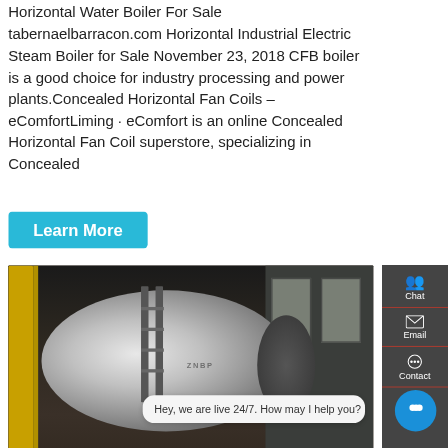Horizontal Water Boiler For Sale tabernaelbarracon.com Horizontal Industrial Electric Steam Boiler for Sale November 23, 2018 CFB boiler is a good choice for industry processing and power plants.Concealed Horizontal Fan Coils – eComfortLiming · eComfort is an online Concealed Horizontal Fan Coil superstore, specializing in Concealed
[Figure (photo): Large horizontal industrial steam boiler in a factory setting, with yellow pipes, scaffolding, and industrial equipment visible. WhatsApp contact button and 'Contact us now!' overlay are visible.]
New horizontal electric steam boiler fac
Boiler, Electric Boiler, Portable Generator manufacturer / supplier in China, offering 2017 New Products 6-120kw